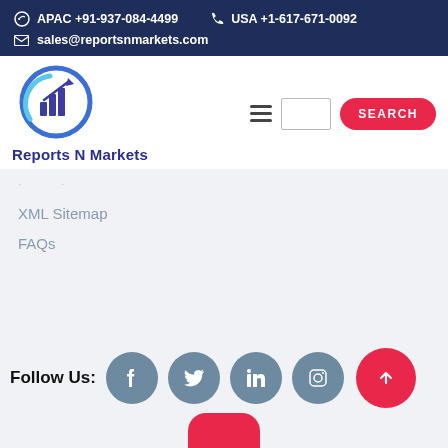APAC +91-937-084-4499   USA +1-617-671-0092   sales@reportsnmarkets.com
[Figure (logo): Reports N Markets logo: circular icon with bar chart and upward arrow in blue/purple gradient, with text 'Reports N Markets' below]
XML Sitemap
FAQs
Follow Us: [Facebook] [Twitter] [LinkedIn] [Instagram]